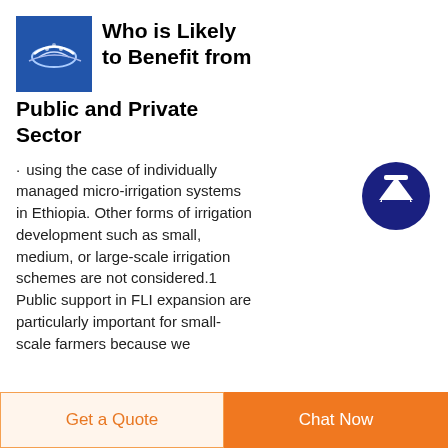[Figure (logo): Blue square logo with a stylized image of a plow or agricultural tool]
Who is Likely to Benefit from Public and Private Sector
using the case of individually managed micro-irrigation systems in Ethiopia. Other forms of irrigation development such as small, medium, or large-scale irrigation schemes are not considered.1 Public support in FLI expansion are particularly important for small-scale farmers because we
[Figure (other): Dark blue circular button with white upward arrow]
Get a Quote   Chat Now